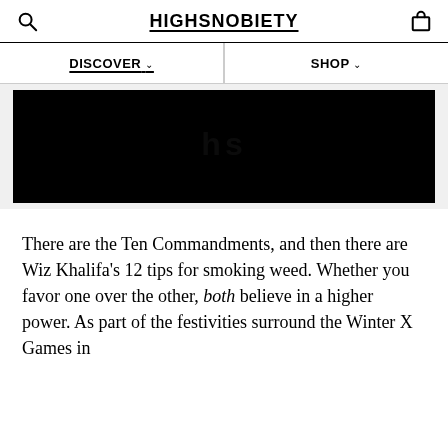HIGHSNOBIETY
DISCOVER   SHOP
[Figure (photo): Dark/black hero image with faint watermark text 'hs' visible in center]
There are the Ten Commandments, and then there are Wiz Khalifa's 12 tips for smoking weed. Whether you favor one over the other, both believe in a higher power. As part of the festivities surround the Winter X Games in